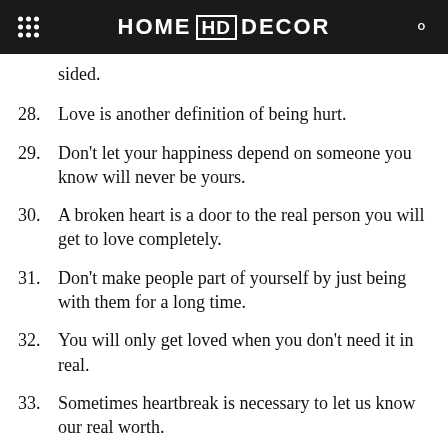HOME HD DECOR
[partial] ...equally, it only remains longer if the love is one-sided.
28. Love is another definition of being hurt.
29. Don't let your happiness depend on someone you know will never be yours.
30. A broken heart is a door to the real person you will get to love completely.
31. Don't make people part of yourself by just being with them for a long time.
32. You will only get loved when you don't need it in real.
33. Sometimes heartbreak is necessary to let us know our real worth.